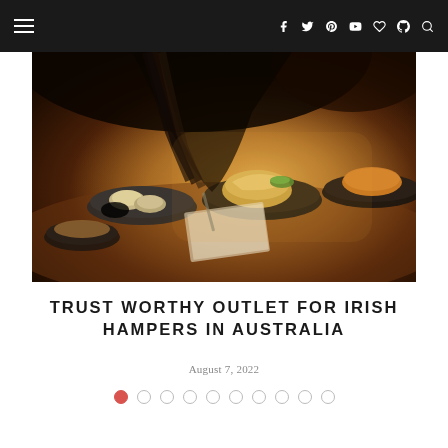Navigation bar with hamburger menu and social icons (f, twitter, pinterest, youtube, heart, snapchat, search)
[Figure (photo): Overhead/close-up photo of a person leaning over a table spread with various food dishes including oysters and garnished plates, dark moody lighting with warm golden highlights]
TRUST WORTHY OUTLET FOR IRISH HAMPERS IN AUSTRALIA
August 7, 2022
Pagination dots: 1 active (red filled), 9 inactive (empty circles)